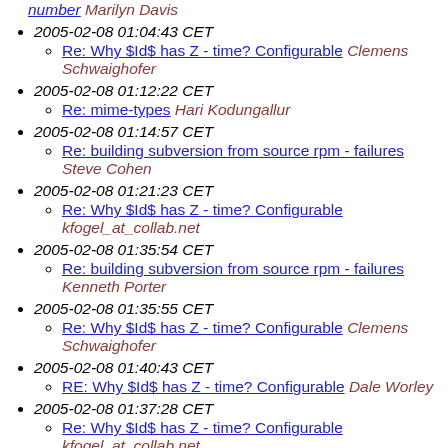number Marilyn Davis
2005-02-08 01:04:43 CET
Re: Why $Id$ has Z - time? Configurable Clemens Schwaighofer
2005-02-08 01:12:22 CET
Re: mime-types Hari Kodungallur
2005-02-08 01:14:57 CET
Re: building subversion from source rpm - failures Steve Cohen
2005-02-08 01:21:23 CET
Re: Why $Id$ has Z - time? Configurable kfogel_at_collab.net
2005-02-08 01:35:54 CET
Re: building subversion from source rpm - failures Kenneth Porter
2005-02-08 01:35:55 CET
Re: Why $Id$ has Z - time? Configurable Clemens Schwaighofer
2005-02-08 01:40:43 CET
RE: Why $Id$ has Z - time? Configurable Dale Worley
2005-02-08 01:37:28 CET
Re: Why $Id$ has Z - time? Configurable kfogel_at_collab.net
2005-02-08 02:33:48 CET